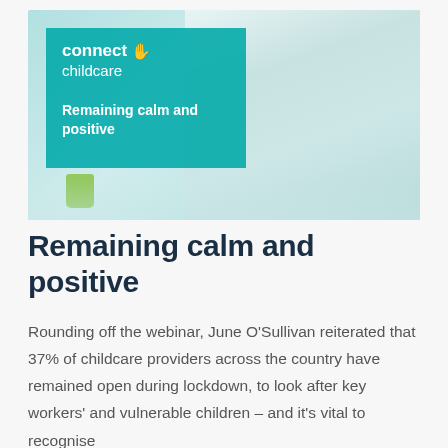[Figure (photo): Hero banner image showing a woman holding a baby while a child draws at a desk. Overlaid with a teal box containing the Connect Childcare logo and the text 'Remaining calm and positive'. Background features soft teal/aqua tones with art supplies visible.]
Remaining calm and positive
Rounding off the webinar, June O'Sullivan reiterated that 37% of childcare providers across the country have remained open during lockdown, to look after key workers' and vulnerable children – and it's vital to recognise